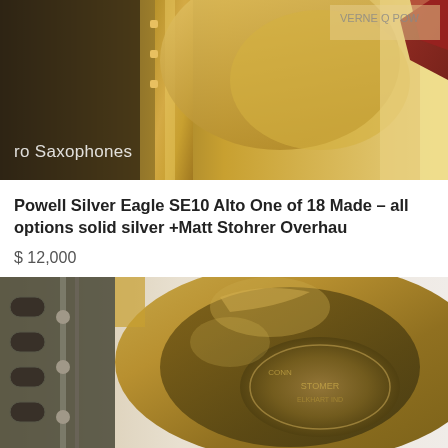[Figure (photo): Close-up photo of a gold/brass saxophone with partial text 'ro Saxophones' visible in white in the lower left, and a red/maroon object in the background upper right. Branded item visible.]
Powell Silver Eagle SE10 Alto One of 18 Made – all options solid silver +Matt Stohrer Overhau
$ 12,000
[Figure (photo): Close-up photo of a vintage brass/gold saxophone bell showing an engraved or stamped maker's mark or badge, with saxophone keys and rods visible on the left side. Background is white/grey.]